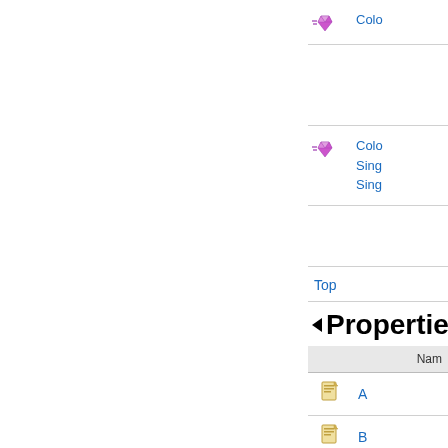Colo...
Colo...
Sing...
Sing...
Top
Properties
|  | Nam... |
| --- | --- |
| [icon] | A |
| [icon] | B |